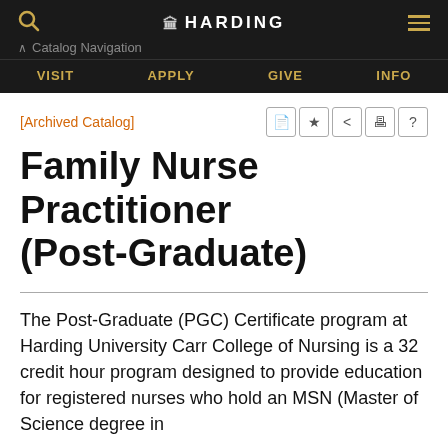HARDING | VISIT | APPLY | GIVE | INFO | Catalog Navigation
[Archived Catalog]
Family Nurse Practitioner (Post-Graduate)
The Post-Graduate (PGC) Certificate program at Harding University Carr College of Nursing is a 32 credit hour program designed to provide education for registered nurses who hold an MSN (Master of Science degree in